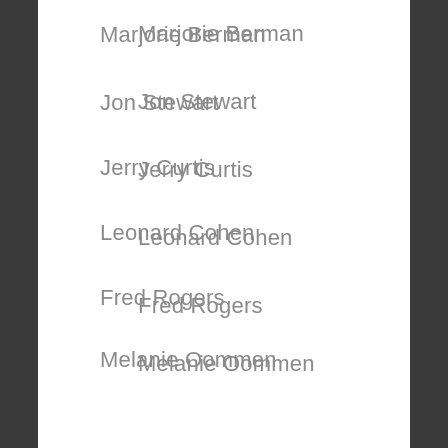Marjorie Berman
Jon Stewart
Jerry Curtis
Leonard Cohen
Fred Rogers
Melanie Oommen
Rosa Parks
MLK
Bob Dylan